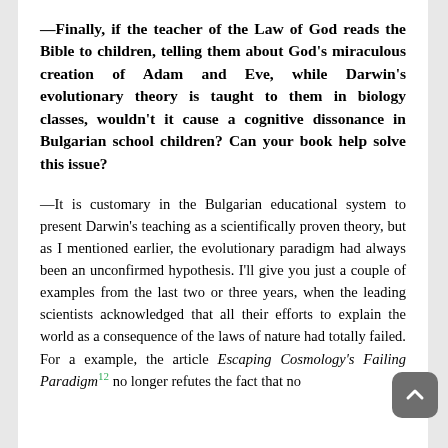—Finally, if the teacher of the Law of God reads the Bible to children, telling them about God's miraculous creation of Adam and Eve, while Darwin's evolutionary theory is taught to them in biology classes, wouldn't it cause a cognitive dissonance in Bulgarian school children? Can your book help solve this issue?
—It is customary in the Bulgarian educational system to present Darwin's teaching as a scientifically proven theory, but as I mentioned earlier, the evolutionary paradigm had always been an unconfirmed hypothesis. I'll give you just a couple of examples from the last two or three years, when the leading scientists acknowledged that all their efforts to explain the world as a consequence of the laws of nature had totally failed. For a example, the article Escaping Cosmology's Failing Paradigm[12] no longer refutes the fact that no